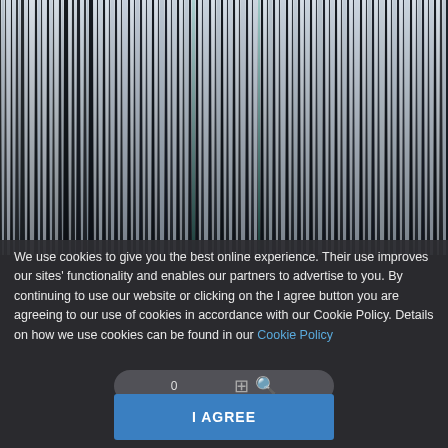[Figure (photo): Abstract vertical stripes in shades of black, white, grey, and faint teal/green — resembles a motion-blurred or bokeh light photograph used as a website background hero image.]
We use cookies to give you the best online experience. Their use improves our sites' functionality and enables our partners to advertise to you. By continuing to use our website or clicking on the I agree button you are agreeing to our use of cookies in accordance with our Cookie Policy. Details on how we use cookies can be found in our Cookie Policy
I AGREE